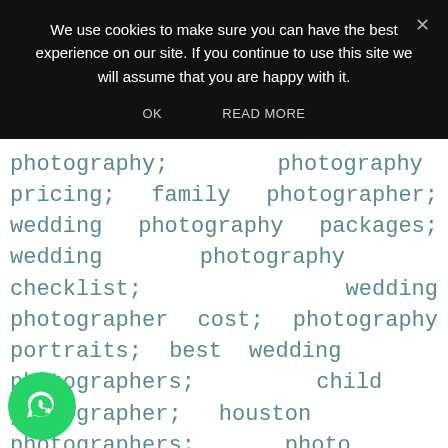We use cookies to make sure you can have the best experience on our site. If you continue to use this site we will assume that you are happy with it.
OK   READ MORE
photography; photography pricing; family photographer; wedding photography packages; wedding photography checklist; wedding photographer cost; photography portraits; best wedding photographers; child photographer; houston photographers; photo portfolio; websites for photographers; top photographers; photography services; family photoshoot; photo wedding portraits; photo portrait; family portrait photography; photography packages;
[Figure (logo): WhatsApp logo - green circle with white phone handset icon]